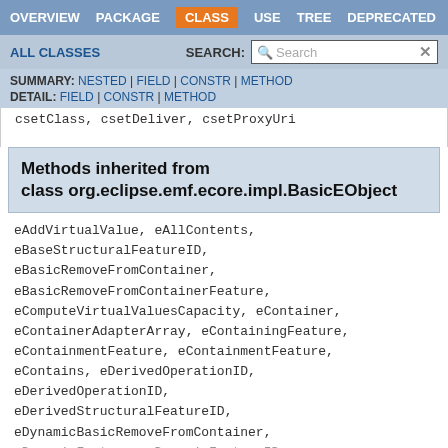OVERVIEW | PACKAGE | CLASS | USE | TREE | DEPRECATED
ALL CLASSES   SEARCH:
SUMMARY: NESTED | FIELD | CONSTR | METHOD
DETAIL: FIELD | CONSTR | METHOD
csetClass, csetDeliver, csetProxyUri
Methods inherited from class org.eclipse.emf.ecore.impl.BasicEObject
eAddVirtualValue, eAllContents, eBaseStructuralFeatureID, eBasicRemoveFromContainer, eBasicRemoveFromContainerFeature, eComputeVirtualValuesCapacity, eContainer, eContainerAdapterArray, eContainingFeature, eContainmentFeature, eContainmentFeature, eContains, eDerivedOperationID, eDerivedOperationID, eDerivedStructuralFeatureID, eDynamicBasicRemoveFromContainer, eDynamicFeature, eDynamicFeatureID,